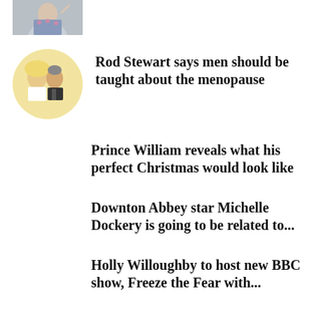[Figure (photo): Partial thumbnail image at top of page, cropped woman in floral dress]
[Figure (photo): Circular thumbnail photo of Rod Stewart and a blonde woman in white]
Rod Stewart says men should be taught about the menopause
Prince William reveals what his perfect Christmas would look like
Downton Abbey star Michelle Dockery is going to be related to...
Holly Willoughby to host new BBC show, Freeze the Fear with...
Kate Winslet to star in new